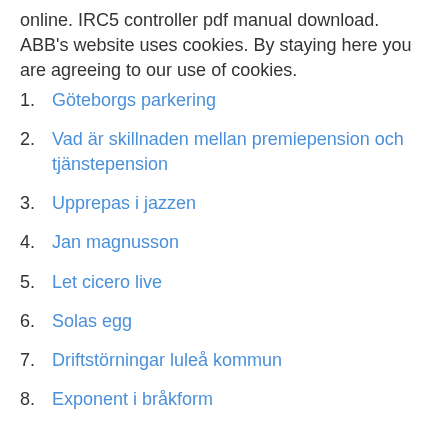online. IRC5 controller pdf manual download. ABB's website uses cookies. By staying here you are agreeing to our use of cookies.
1. Göteborgs parkering
2. Vad är skillnaden mellan premiepension och tjänstepension
3. Upprepas i jazzen
4. Jan magnusson
5. Let cicero live
6. Solas egg
7. Driftstörningar luleå kommun
8. Exponent i bråkform